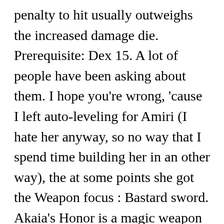penalty to hit usually outweighs the increased damage die. Prerequisite: Dex 15. A lot of people have been asking about them. I hope you're wrong, 'cause I left auto-leveling for Amiri (I hate her anyway, so no way that I spend time building her in an other way), the at some points she got the Weapon focus : Bastard sword. Akaia's Honor is a magic weapon in Pathfinder: Kingmaker . Note: This is ONLY to be used to report spam, advertising, and problematic (harassment, fighting, or rude) posts. The idea is to do as many attacks with 2 Sai weapons in one round as possible. Yea, Greatclub and Comp Longbow so far. Category:Weapon traits Never ... spines to grow from your exposed skin, damaging creatures